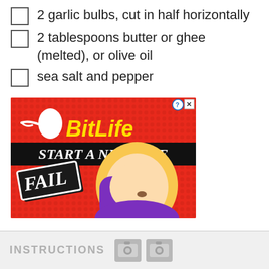2 garlic bulbs, cut in half horizontally
2 tablespoons butter or ghee (melted), or olive oil
sea salt and pepper
[Figure (screenshot): BitLife mobile game advertisement with red dot-pattern background showing sperm logo, yellow BitLife text, black banner reading START A NEW LIFE, FAIL label, and cartoon blonde woman doing facepalm]
INSTRUCTIONS